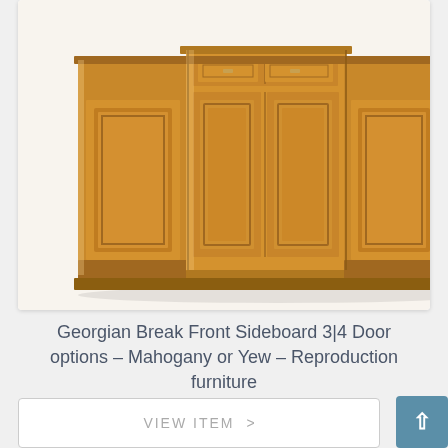[Figure (photo): A wooden Georgian Break Front Sideboard with multiple cabinet doors and drawers, shown in a warm honey/yew wood finish. The sideboard has decorative panel doors with raised moulding details and brass hardware.]
Georgian Break Front Sideboard 3|4 Door options – Mahogany or Yew – Reproduction furniture
£1,816.00 – £2,375.00
VIEW ITEM  >